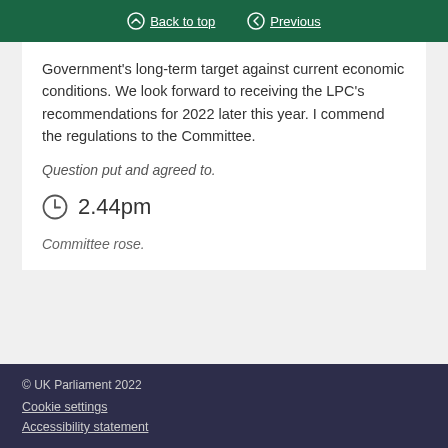Back to top | Previous
Government’s long-term target against current economic conditions. We look forward to receiving the LPC’s recommendations for 2022 later this year. I commend the regulations to the Committee.
Question put and agreed to.
2.44pm
Committee rose.
© UK Parliament 2022
Cookie settings
Accessibility statement